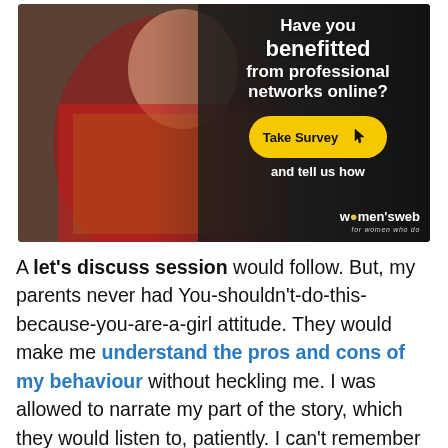[Figure (illustration): Women's Web advertisement banner showing a woman in a red saree with text 'Have you benefitted from professional networks online?' and a yellow 'Take Survey' button with a hand cursor icon, and 'and tell us how' text below. Women's Web logo in bottom right.]
A let's discuss session would follow. But, my parents never had You-shouldn't-do-this-because-you-are-a-girl attitude. They would make me understand the pros and cons of my behaviour without heckling me. I was allowed to narrate my part of the story, which they would listen to, patiently. I can't remember even once